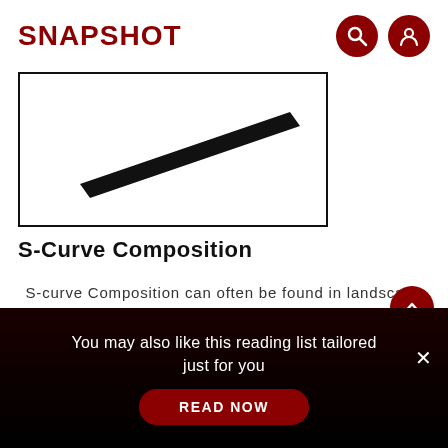SNAPSHOT
[Figure (illustration): A sketch inside a black-bordered rectangle showing a diagonal dark wedge/pen-like shape, representing an S-Curve composition diagram.]
S-Curve Composition
S-curve Composition can often be found in landscape photos. You can create a dynamic impression by including a distant S-shaped subject in the image, such as a river.
You may also like this reading list tailored just for you READ NOW